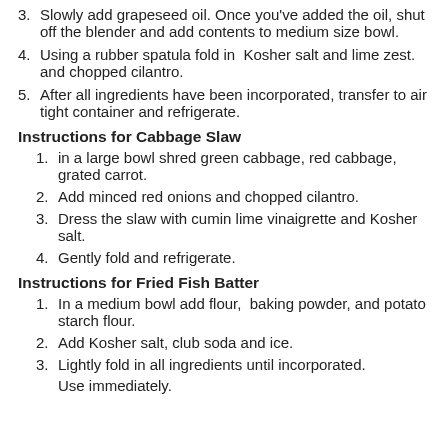3. Slowly add grapeseed oil. Once you've added the oil, shut off the blender and add contents to medium size bowl.
4. Using a rubber spatula fold in  Kosher salt and lime zest. and chopped cilantro.
5. After all ingredients have been incorporated, transfer to air tight container and refrigerate.
Instructions for Cabbage Slaw
1. in a large bowl shred green cabbage, red cabbage, grated carrot.
2. Add minced red onions and chopped cilantro.
3. Dress the slaw with cumin lime vinaigrette and Kosher salt.
4. Gently fold and refrigerate.
Instructions for Fried Fish Batter
1. In a medium bowl add flour,  baking powder, and potato starch flour.
2. Add Kosher salt, club soda and ice.
3. Lightly fold in all ingredients until incorporated.
Use immediately.